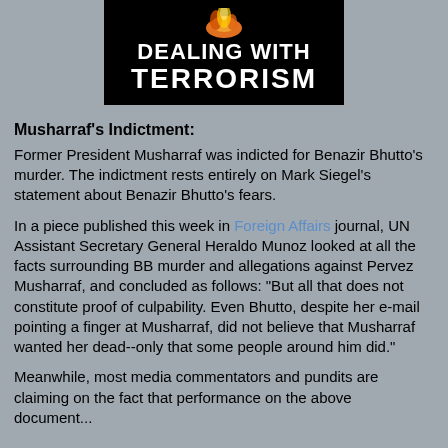[Figure (illustration): Black banner with fire graphic at top and white bold text reading 'DEALING WITH TERRORISM']
Musharraf's Indictment:
Former President Musharraf was indicted for Benazir Bhutto's murder. The indictment rests entirely on Mark Siegel's statement about Benazir Bhutto's fears.
In a piece published this week in Foreign Affairs journal, UN Assistant Secretary General Heraldo Munoz looked at all the facts surrounding BB murder and allegations against Pervez Musharraf, and concluded as follows: "But all that does not constitute proof of culpability. Even Bhutto, despite her e-mail pointing a finger at Musharraf, did not believe that Musharraf wanted her dead--only that some people around him did."
Meanwhile, most media commentators and pundits are claiming on the fact that performance on the above document...